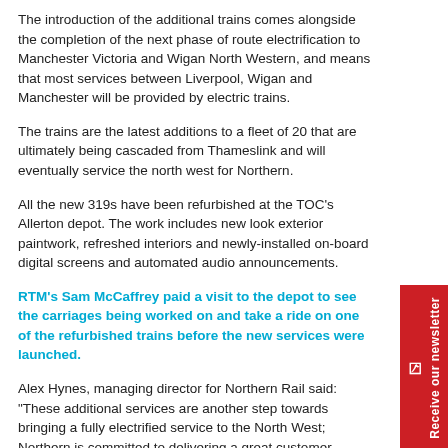The introduction of the additional trains comes alongside the completion of the next phase of route electrification to Manchester Victoria and Wigan North Western, and means that most services between Liverpool, Wigan and Manchester will be provided by electric trains.
The trains are the latest additions to a fleet of 20 that are ultimately being cascaded from Thameslink and will eventually service the north west for Northern.
All the new 319s have been refurbished at the TOC's Allerton depot. The work includes new look exterior paintwork, refreshed interiors and newly-installed on-board digital screens and automated audio announcements.
RTM's Sam McCaffrey paid a visit to the depot to see the carriages being worked on and take a ride on one of the refurbished trains before the new services were launched.
Alex Hynes, managing director for Northern Rail said: "These additional services are another step towards bringing a fully electrified service to the North West; Northern is committed to delivering a great customer experience and our investment in these trains demonstrates how important that is to us.